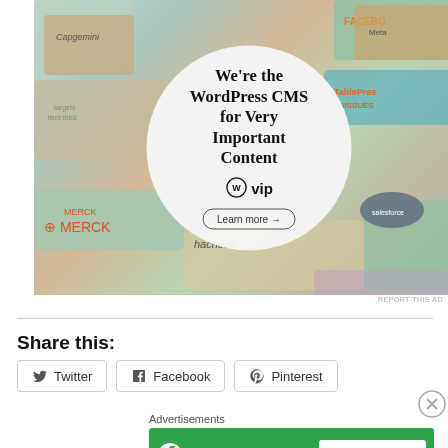[Figure (screenshot): WordPress VIP advertisement banner with colorful card collage background and white circle containing text 'We're the WordPress CMS for Very Important Content' with WordPress VIP logo and 'Learn more' button]
REPORT THIS AD
Share this:
[Figure (screenshot): Social share buttons: Twitter, Facebook, Pinterest]
Advertisements
[Figure (screenshot): Jetpack advertisement banner in green with Jetpack logo and 'Secure Your Site' button]